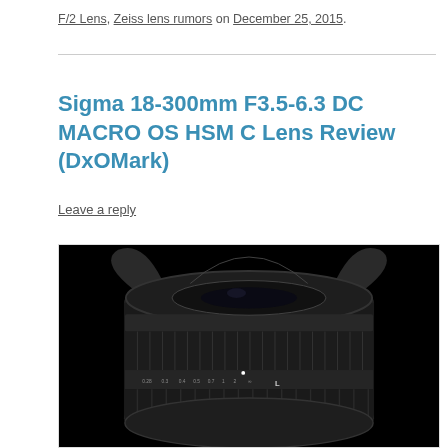F/2 Lens, Zeiss lens rumors on December 25, 2015.
Sigma 18-300mm F3.5-6.3 DC MACRO OS HSM C Lens Review (DxOMark)
Leave a reply
[Figure (photo): Close-up photo of a Sigma 18-300mm camera lens with lens hood attached, on a black background]